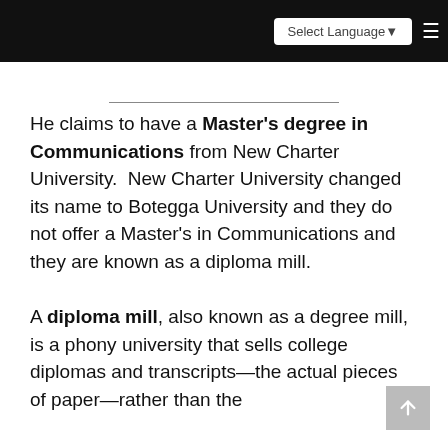Select Language ☰
He claims to have a Master's degree in Communications from New Charter University.  New Charter University changed its name to Botegga University and they do not offer a Master's in Communications and they are known as a diploma mill.
A diploma mill, also known as a degree mill, is a phony university that sells college diplomas and transcripts—the actual pieces of paper—rather than the